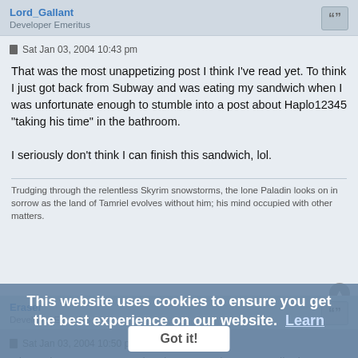Lord_Gallant
Developer Emeritus
Sat Jan 03, 2004 10:43 pm
That was the most unappetizing post I think I've read yet. To think I just got back from Subway and was eating my sandwich when I was unfortunate enough to stumble into a post about Haplo12345 "taking his time" in the bathroom.

I seriously don't think I can finish this sandwich, lol.
Trudging through the relentless Skyrim snowstorms, the lone Paladin looks on in sorrow as the land of Tamriel evolves without him; his mind occupied with other matters.
Eraser
Developer Emeritus
Sat Jan 03, 2004 10:50 pm
Please just say you were just busy next time, we really don't need to know that:sick: